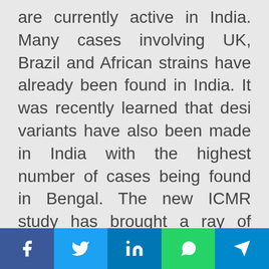are currently active in India. Many cases involving UK, Brazil and African strains have already been found in India. It was recently learned that desi variants have also been made in India with the highest number of cases being found in Bengal. The new ICMR study has brought a ray of hope.
at April 21, 2021
Corona patients get regenerating oxygen making machine on the market, find out what is the price?
[Figure (infographic): Social media sharing bar with Facebook, Twitter, LinkedIn, WhatsApp, and Telegram buttons]